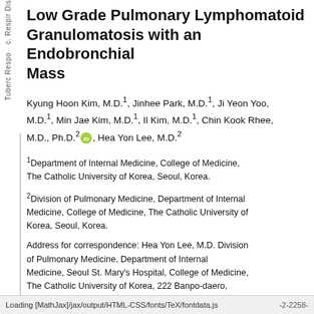Low Grade Pulmonary Lymphomatoid Granulomatosis with an Endobronchial Mass
Kyung Hoon Kim, M.D.1, Jinhee Park, M.D.1, Ji Yeon Yoo, M.D.1, Min Jae Kim, M.D.1, Il Kim, M.D.1, Chin Kook Rhee, M.D., Ph.D.2 [ORCID], Hea Yon Lee, M.D.2
1Department of Internal Medicine, College of Medicine, The Catholic University of Korea, Seoul, Korea.
2Division of Pulmonary Medicine, Department of Internal Medicine, College of Medicine, The Catholic University of Korea, Seoul, Korea.
Address for correspondence: Hea Yon Lee, M.D. Division of Pulmonary Medicine, Department of Internal Medicine, Seoul St. Mary's Hospital, College of Medicine, The Catholic University of Korea, 222 Banpo-daero,
Loading [MathJax]/jax/output/HTML-CSS/fonts/TeX/fontdata.js    -2-2258-